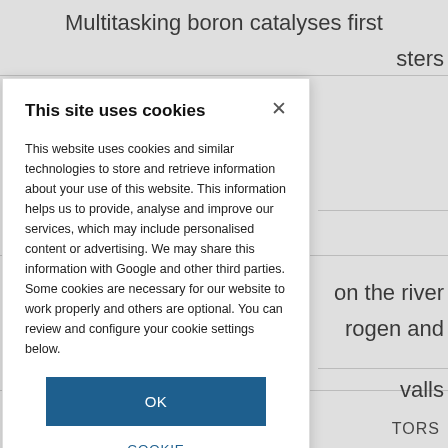Multitasking boron catalyses first
sters
on the river
rogen and
valls
TORS
This site uses cookies
This website uses cookies and similar technologies to store and retrieve information about your use of this website. This information helps us to provide, analyse and improve our services, which may include personalised content or advertising. We may share this information with Google and other third parties. Some cookies are necessary for our website to work properly and others are optional. You can review and configure your cookie settings below.
OK
COOKIE SETTINGS